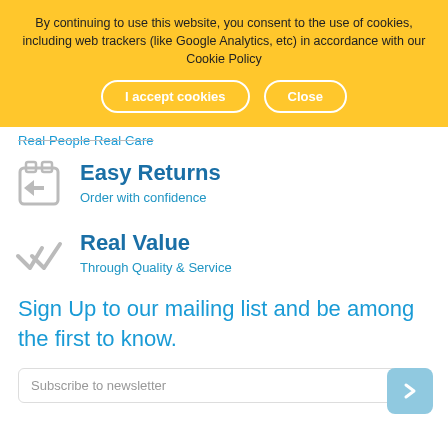By continuing to use this website, you consent to the use of cookies, including web trackers (like Google Analytics, etc) in accordance with our Cookie Policy
I accept cookies | Close
Real People Real Care
Easy Returns
Order with confidence
Real Value
Through Quality & Service
Sign Up to our mailing list and be among the first to know.
Subscribe to newsletter